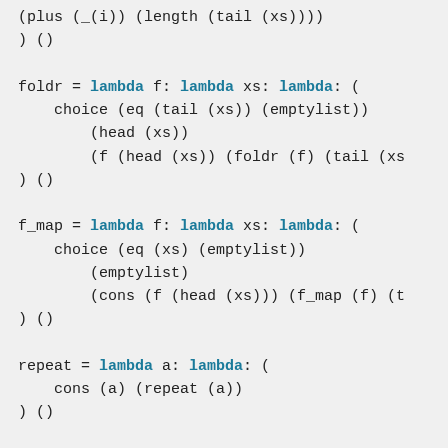(plus (_(i)) (length (tail (xs))))
) ()
foldr = lambda f: lambda xs: lambda: (
    choice (eq (tail (xs)) (emptylist))
        (head (xs))
        (f (head (xs)) (foldr (f) (tail (xs
) ()
f_map = lambda f: lambda xs: lambda: (
    choice (eq (xs) (emptylist))
        (emptylist)
        (cons (f (head (xs))) (f_map (f) (t
) ()
repeat = lambda a: lambda: (
    cons (a) (repeat (a))
) ()